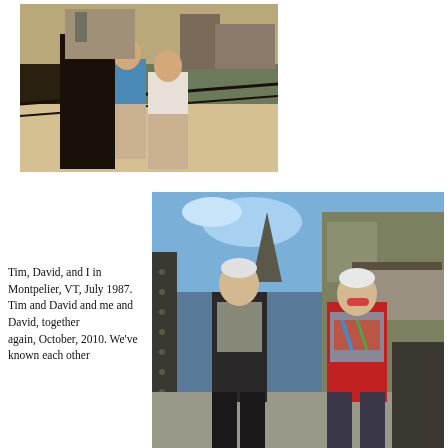[Figure (photo): Two people standing on a bridge or elevated walkway outdoors, old film photograph, circa 1987, one in blue t-shirt and one in white top]
[Figure (photo): Two older adults standing outdoors in front of a building, modern color photograph, October 2010, man in dark jacket and woman in red jacket with colorful scarf]
Tim, David, and I in Montpelier, VT, July 1987. Tim and David and me and David, together again, October, 2010. We've known each other